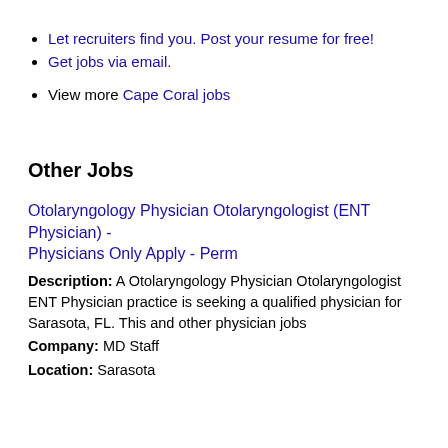Let recruiters find you. Post your resume for free!
Get jobs via email.
View more Cape Coral jobs
Other Jobs
Otolaryngology Physician Otolaryngologist (ENT Physician) - Physicians Only Apply - Perm
Description: A Otolaryngology Physician Otolaryngologist ENT Physician practice is seeking a qualified physician for Sarasota, FL. This and other physician jobs
Company: MD Staff
Location: Sarasota